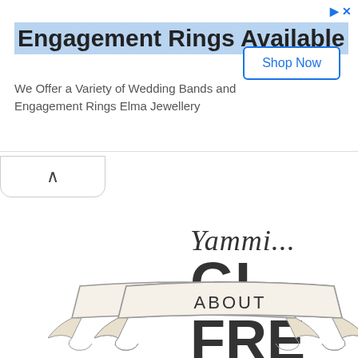[Figure (screenshot): Advertisement banner for Elma Jewellery engagement rings with 'Shop Now' button]
Engagement Rings Available
We Offer a Variety of Wedding Bands and Engagement Rings Elma Jewellery
[Figure (illustration): Partially visible blog/website logo with cursive 'Yammi...' script above large bold letters 'GL' and 'FRE' (truncated), likely 'Gluten Free']
[Figure (illustration): Navigation ribbon banner with text HOME]
[Figure (illustration): Navigation ribbon banner with text ABOUT]